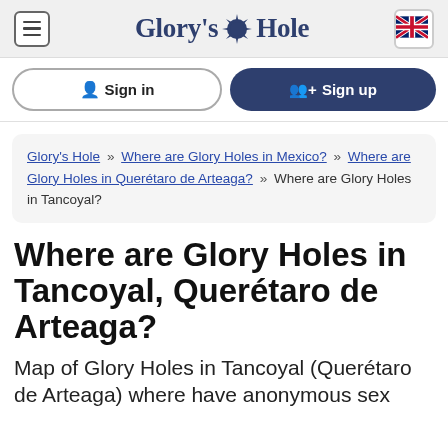Glory's Hole
Sign in | Sign up
Glory's Hole » Where are Glory Holes in Mexico? » Where are Glory Holes in Querétaro de Arteaga? » Where are Glory Holes in Tancoyal?
Where are Glory Holes in Tancoyal, Querétaro de Arteaga?
Map of Glory Holes in Tancoyal (Querétaro de Arteaga) where have anonymous sex